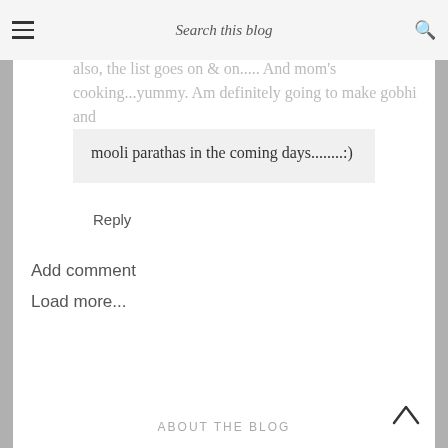Search this blog
also, the list goes on & on..... And mom's cooking...yummy. Am definitely going to make gobhi and mooli parathas in the coming days........:)
Reply
Add comment
Load more...
ABOUT THE BLOG